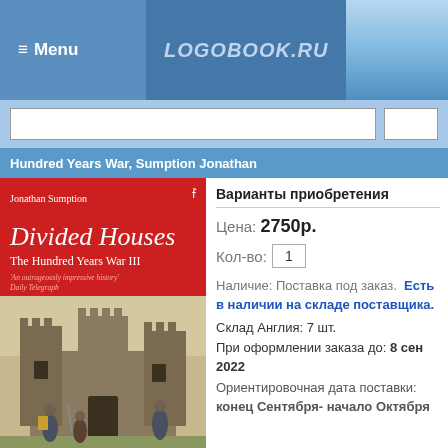≡ Menu   LOGOBOOK.RU
Hundred Years War, Sumption Jonathan
[Figure (illustration): Book cover of 'Divided Houses: The Hundred Years War III' by Jonathan Sumption, published by Faber & Faber. Red cover with medieval castle battle scene illustration. White text shows author name and title.]
Варианты приобретения
Цена: 2750р.
Кол-во: 1
Наличие: Поставка под заказ. Есть в наличии на складе поставщика.
Склад Англия: 7 шт.
При оформлении заказа до: 8 сен 2022
Ориентировочная дата поставки: конец Сентября- начало Октября